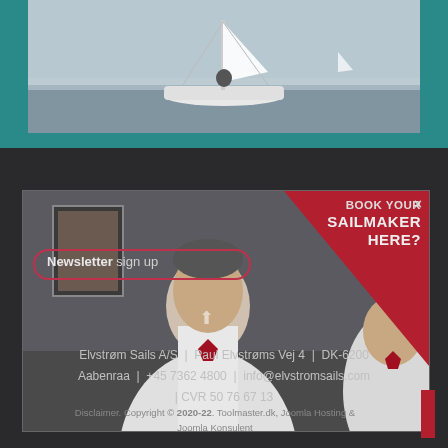[Figure (photo): Sailboat on water viewed from front, white hull, grey sky, teal background border]
[Figure (photo): Video popup overlay showing a man in white polo shirt with Elvstrom Sails logo, red triangle in top-right corner with text BOOK YOUR SAILMAKER HERE?, newsletter sign up pill button, close X button]
Newsletter sign up
BOOK YOUR SAILMAKER HERE?
Elvstrøm Sails A/S | Paul Elvstrøms Vej 4 | DK-6200 Aabenraa | +45 7362 4800 | info@elvstromsails.com | CVR 50 76 67 13
Disclaimer. Copyright © 2020-22. Toolmaster.dk, Joomla Hosting & Joomla Konsulent